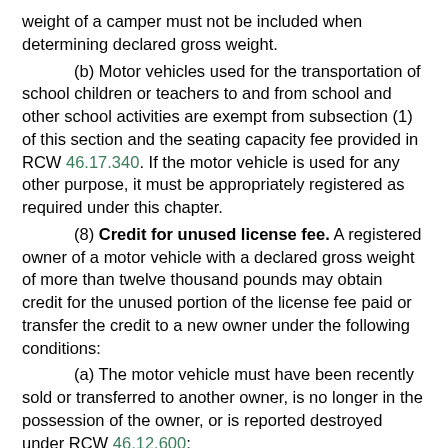weight of a camper must not be included when determining declared gross weight.
(b) Motor vehicles used for the transportation of school children or teachers to and from school and other school activities are exempt from subsection (1) of this section and the seating capacity fee provided in RCW 46.17.340. If the motor vehicle is used for any other purpose, it must be appropriately registered as required under this chapter.
(8) Credit for unused license fee. A registered owner of a motor vehicle with a declared gross weight of more than twelve thousand pounds may obtain credit for the unused portion of the license fee paid or transfer the credit to a new owner under the following conditions:
(a) The motor vehicle must have been recently sold or transferred to another owner, is no longer in the possession of the owner, or is reported destroyed under RCW 46.12.600;
(b) The available credit must be fifteen dollars or more;
(c) Credit will be given for any unused months of